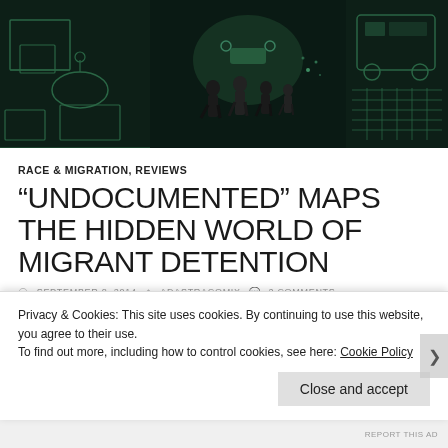[Figure (illustration): Dark green/black tinted hero banner with three panels showing illustrated scenes: left panel shows interior room with furniture outlines, center panel shows figures walking including people and a drone/robot, right panel shows a vehicle and grid pattern]
RACE & MIGRATION, REVIEWS
“UNDOCUMENTED” MAPS THE HIDDEN WORLD OF MIGRANT DETENTION
SEPTEMBER 8, 2014   ADASTRACOMIX   2 COMMENTS
Title: UNDOCUMENTED: The
Privacy & Cookies: This site uses cookies. By continuing to use this website, you agree to their use.
To find out more, including how to control cookies, see here: Cookie Policy
Close and accept